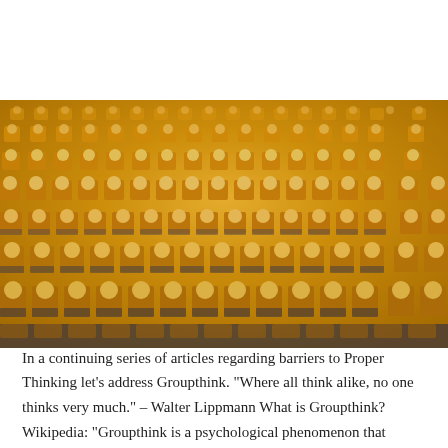[Figure (photo): Aerial view of a large crowd of people wearing yellow/gold t-shirts, arranged in a uniform grid pattern, with darker pants, suggesting a military or organized group formation.]
Groupthink
JUNE 28, 2017 / BY JAMES L. PATTERSON
In a continuing series of articles regarding barriers to Proper Thinking let’s address Groupthink. “Where all think alike, no one thinks very much.” – Walter Lippmann What is Groupthink? Wikipedia: “Groupthink is a psychological phenomenon that